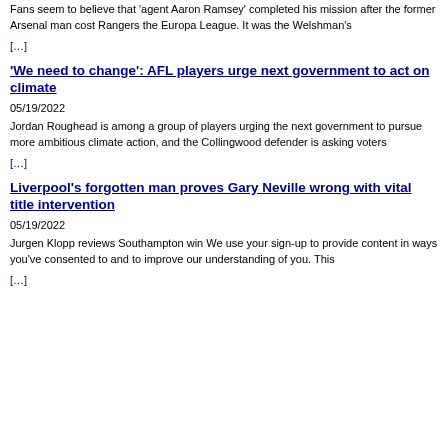Fans seem to believe that 'agent Aaron Ramsey' completed his mission after the former Arsenal man cost Rangers the Europa League. It was the Welshman's
[…]
'We need to change': AFL players urge next government to act on climate
05/19/2022
Jordan Roughead is among a group of players urging the next government to pursue more ambitious climate action, and the Collingwood defender is asking voters
[…]
Liverpool's forgotten man proves Gary Neville wrong with vital title intervention
05/19/2022
Jurgen Klopp reviews Southampton win We use your sign-up to provide content in ways you've consented to and to improve our understanding of you. This
[…]